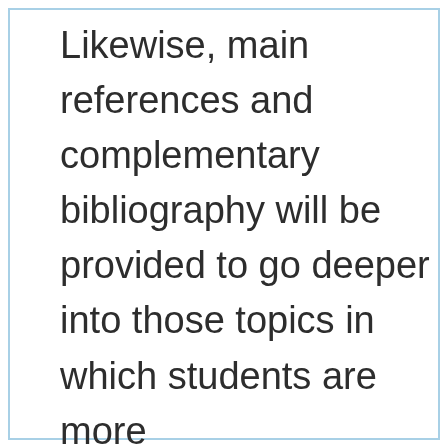Likewise, main references and complementary bibliography will be provided to go deeper into those topics in which students are more